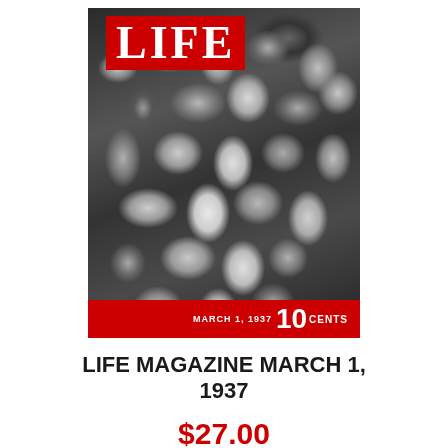[Figure (photo): LIFE Magazine cover from March 1, 1937. Black and white photograph showing a large crowd of animals (possibly rats or dogs). The iconic red LIFE logo appears in the top left. A red bar at the bottom displays 'MARCH 1, 1937 10 CENTS'.]
LIFE MAGAZINE MARCH 1, 1937
$27.00